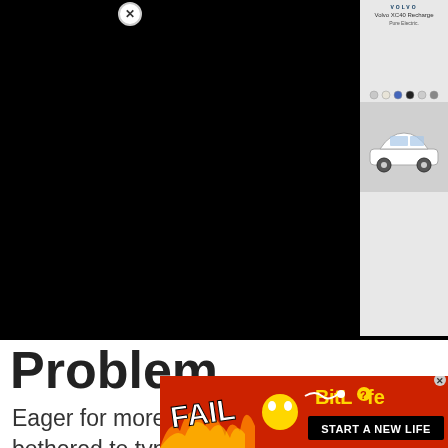[Figure (screenshot): Black background area with a Volvo XC40 Recharge advertisement in upper right. Ad shows VOLVO logo, 'Volvo XC40 Recharge', 'Pure Electric.' text, color swatches, and car image. Close button (X) visible at upper left of ad.]
Problem
Eager for more long division but can't be bothered to type two numbers into the calculator above? No worries. Here's the next problem for you to solve:
[Figure (screenshot): BitLife advertisement with red/fire background, 'FAIL' text, cartoon character face-palming, flames, BitLife logo in yellow, and 'START A NEW LIFE' button in black.]